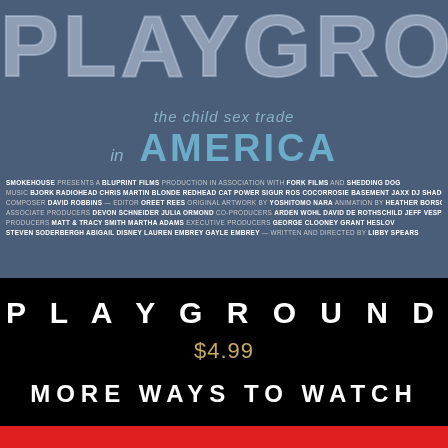[Figure (photo): Movie poster for PLAYGROUND - the child sex trade in America. Blue-grey background with large outlined text 'PLAYGROUND' at top, subtitle 'the child sex trade in AMERICA' below, followed by film credits listing Smokehouse, Bluprint Films, Fork Films, Shedding Dog, music by Bjork, Radiohead, Chris Martin, Blonde Redhead, Cat Power, Sigur Ros, CocoRosie, Basement Jaxx, DJ Shadow, composer David Robbins, editor Oreet Rees, original artwork by Yoshitomo Nara, animation by Heather Borsch, associate producers Devon Schneider, Julia Ormond, co-producers Arden Wohl, David de Rothschild, Jeff Vespa, producers Matt & Tracy Smith, Martha Adams, executive producers George Clooney, Grant Heslov, Steven Soderbergh, Abigail Disney, Lauren Embrey, Gayle Embrey, written and directed by Libby Spears.]
PLAYGROUND
$4.99
MORE WAYS TO WATCH